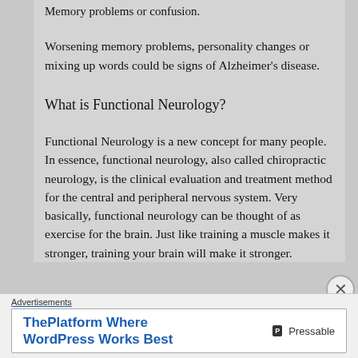Memory problems or confusion.
Worsening memory problems, personality changes or mixing up words could be signs of Alzheimer's disease.
What is Functional Neurology?
Functional Neurology is a new concept for many people. In essence, functional neurology, also called chiropractic neurology, is the clinical evaluation and treatment method for the central and peripheral nervous system. Very basically, functional neurology can be thought of as exercise for the brain. Just like training a muscle makes it stronger, training your brain will make it stronger.
Advertisements
[Figure (other): Advertisement banner: ThePlatform Where WordPress Works Best — Pressable]